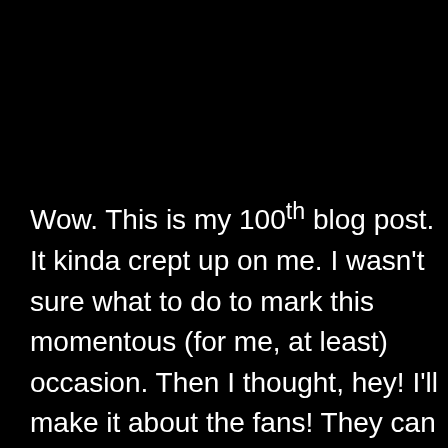Wow.  This is my 100th blog post.  It kinda crept up on me.   I wasn't sure what to do to mark this momentous (for me, at least) occasion.  Then I thought, hey! I'll make it about the fans! They can ask whatever questions they want and I'll give them advice or whatever.  People are always asking me for advice.  Heck, I could moonlight as a therapist for a few of my friends.